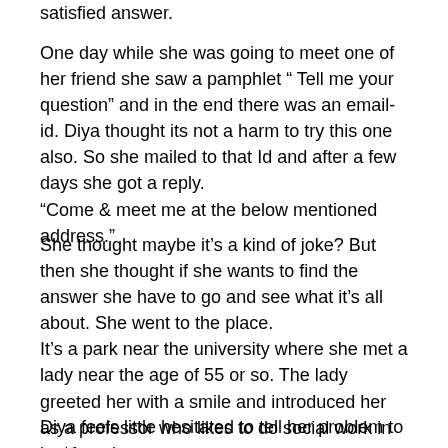satisfied answer.
One day while she was going to meet one of her friend she saw a pamphlet “ Tell me your question” and in the end there was an email-id. Diya thought its not a harm to try this one also. So she mailed to that Id and after a few days she got a reply.
“Come & meet me at the below mentioned address.”
She thought maybe it’s a kind of joke? But then she thought if she wants to find the answer she have to go and see what it’s all about. She went to the place.
It’s a park near the university where she met a lady near the age of 55 or so. The lady greeted her with a smile and introduced her as a professor who likes to do social work in her free time.
Diya feels little hesitated to tell her problem to a stranger